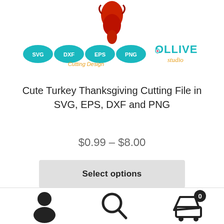[Figure (illustration): Partial red turkey illustration at top center]
[Figure (logo): SVG DXF EPS PNG cutting design format badges in teal ovals, and Ollive Studio logo in teal/gold text on the right]
Cute Turkey Thanksgiving Cutting File in SVG, EPS, DXF and PNG
$0.99 – $8.00
Select options
[Figure (illustration): Partial digital download product preview image showing fork, knife, plate at bottom]
[Figure (infographic): Bottom navigation bar with user/account icon, search icon, and cart icon with badge showing 0]